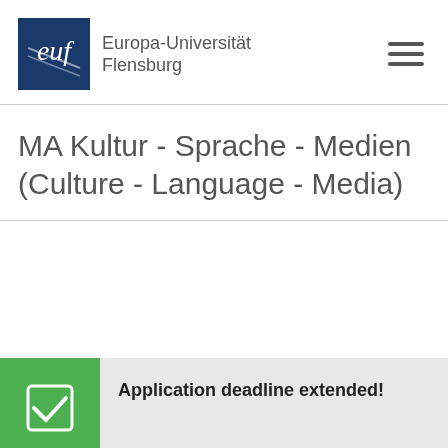Europa-Universität Flensburg
MA Kultur - Sprache - Medien (Culture - Language - Media)
Application deadline extended!